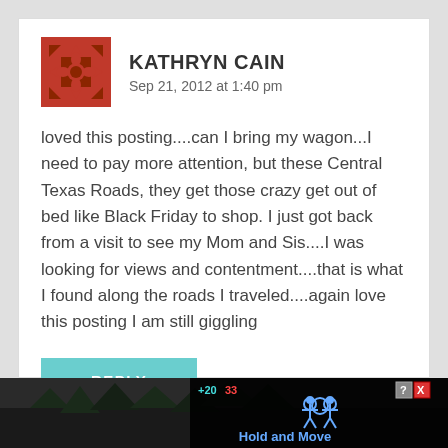KATHRYN CAIN
Sep 21, 2012 at 1:40 pm
loved this posting....can I bring my wagon...I need to pay more attention, but these Central Texas Roads, they get those crazy get out of bed like Black Friday to shop. I just got back from a visit to see my Mom and Sis....I was looking for views and contentment....that is what I found along the roads I traveled....again love this posting I am still giggling
REPLY
[Figure (screenshot): Bottom advertisement bar showing a game or app ad with 'Hold and Move' text, score numbers +20 and 33, people icon, and close/question mark buttons over a dark background with trees silhouette]